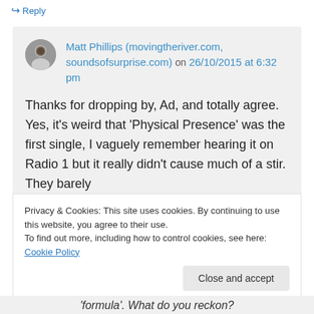↵ Reply
Matt Phillips (movingtheriver.com, soundsofsurprise.com) on 26/10/2015 at 6:32 pm
Thanks for dropping by, Ad, and totally agree. Yes, it's weird that 'Physical Presence' was the first single, I vaguely remember hearing it on Radio 1 but it really didn't cause much of a stir. They barely
Privacy & Cookies: This site uses cookies. By continuing to use this website, you agree to their use.
To find out more, including how to control cookies, see here: Cookie Policy
Close and accept
'formula'. What do you reckon?